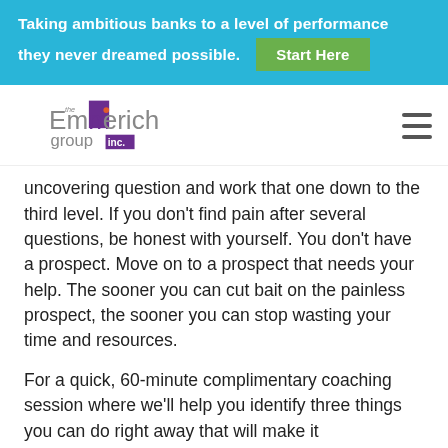Taking ambitious banks to a level of performance they never dreamed possible. Start Here
[Figure (logo): The Emmerich Group Inc. logo with purple square accent and hamburger menu icon]
uncovering question and work that one down to the third level. If you don't find pain after several questions, be honest with yourself. You don't have a prospect. Move on to a prospect that needs your help. The sooner you can cut bait on the painless prospect, the sooner you can stop wasting your time and resources.
For a quick, 60-minute complimentary coaching session where we'll help you identify three things you can do right away that will make it